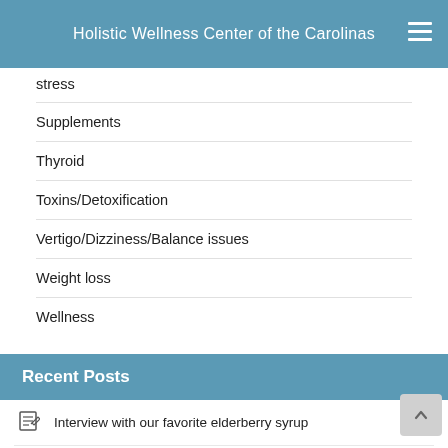Holistic Wellness Center of the Carolinas
stress
Supplements
Thyroid
Toxins/Detoxification
Vertigo/Dizziness/Balance issues
Weight loss
Wellness
Recent Posts
Interview with our favorite elderberry syrup
Gluten Intolerance Testing
Make the New Year more active through more fun